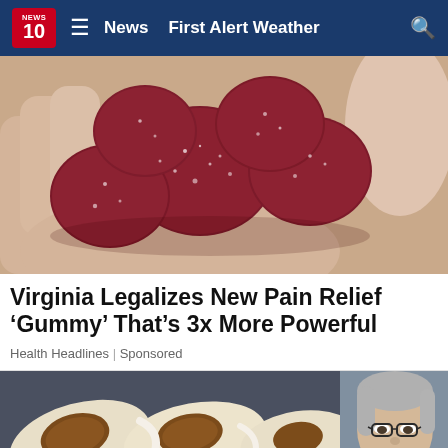News  First Alert Weather
[Figure (photo): Close-up of red sugary gummy candies held in a person's hand]
Virginia Legalizes New Pain Relief ‘Gummy’ That’s 3x More Powerful
Health Headlines | Sponsored
[Figure (photo): Food items on a dark tray with spices and a grey-haired man wearing glasses in the corner]